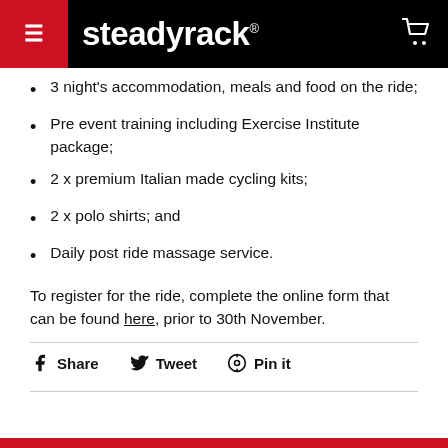steadyrack®
3 night's accommodation, meals and food on the ride;
Pre event training including Exercise Institute package;
2 x premium Italian made cycling kits;
2 x polo shirts; and
Daily post ride massage service.
To register for the ride, complete the online form that can be found here, prior to 30th November.
Share  Tweet  Pin it